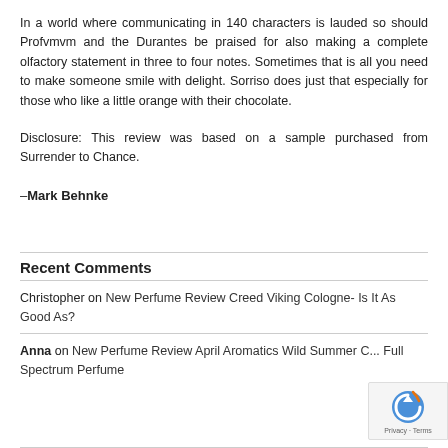In a world where communicating in 140 characters is lauded so should Profvmvm and the Durantes be praised for also making a complete olfactory statement in three to four notes. Sometimes that is all you need to make someone smile with delight. Sorriso does just that especially for those who like a little orange with their chocolate.
Disclosure: This review was based on a sample purchased from Surrender to Chance.
–Mark Behnke
Recent Comments
Christopher on New Perfume Review Creed Viking Cologne- Is It As Good As?
Anna on New Perfume Review April Aromatics Wild Summer C... Full Spectrum Perfume